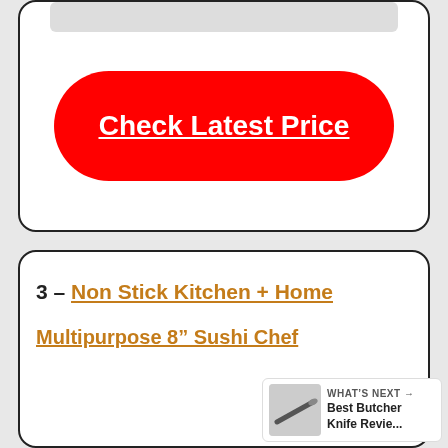[Figure (other): Partially visible product image at top of first card]
Check Latest Price
3 – Non Stick Kitchen + Home
Multipurpose 8” Sushi Che…
[Figure (other): What's Next promo box showing Best Butcher Knife Revie... with knife image]